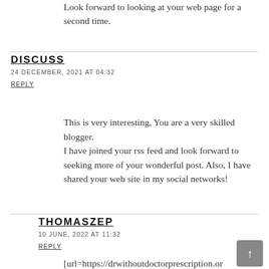Look forward to looking at your web page for a second time.
DISCUSS
24 DECEMBER, 2021 AT 04:32
REPLY
This is very interesting, You are a very skilled blogger.
I have joined your rss feed and look forward to seeking more of your wonderful post. Also, I have shared your web site in my social networks!
THOMASZEP
10 JUNE, 2022 AT 11:32
REPLY
[url=https://drwithoutdoctorprescription.or